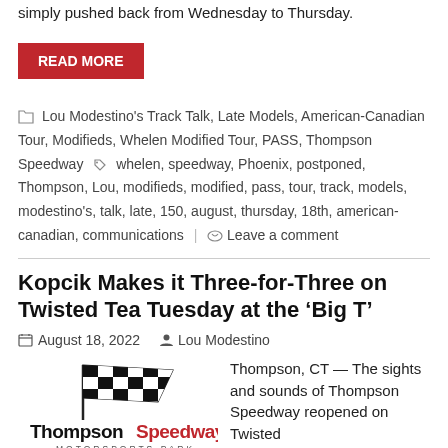simply pushed back from Wednesday to Thursday.
READ MORE
Lou Modestino's Track Talk, Late Models, American-Canadian Tour, Modifieds, Whelen Modified Tour, PASS, Thompson Speedway  whelen, speedway, Phoenix, postponed, Thompson, Lou, modifieds, modified, pass, tour, track, models, modestino's, talk, late, 150, august, thursday, 18th, american-canadian, communications  |  Leave a comment
Kopcik Makes it Three-for-Three on Twisted Tea Tuesday at the ‘Big T’
August 18, 2022   Lou Modestino
[Figure (logo): Thompson Speedway Motorsports Park logo with checkered flag]
Thompson, CT — The sights and sounds of Thompson Speedway reopened on Twisted